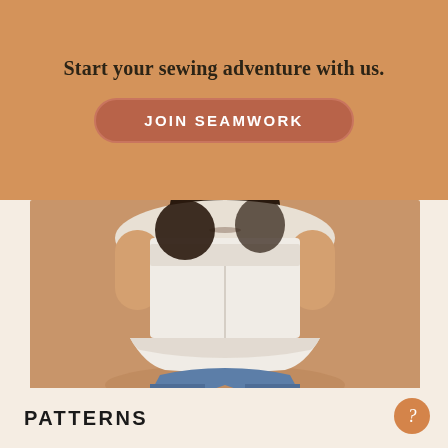Start your sewing adventure with us.
JOIN SEAMWORK
[Figure (photo): A person wearing a white sleeveless eyelet peplum top with jeans, standing against a light brown/tan background.]
PATTERNS